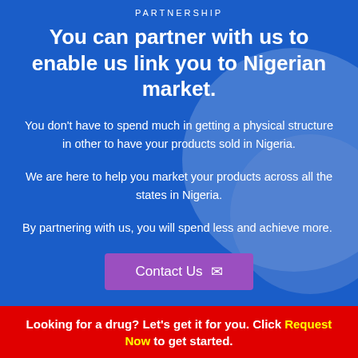PARTNERSHIP
You can partner with us to enable us link you to Nigerian market.
You don't have to spend much in getting a physical structure in other to have your products sold in Nigeria.
We are here to help you market your products across all the states in Nigeria.
By partnering with us, you will spend less and achieve more.
Contact Us
Looking for a drug? Let's get it for you. Click Request Now to get started.